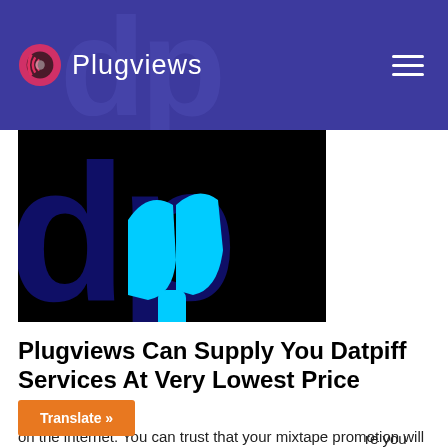Plugviews
[Figure (logo): Plugviews logo with circular icon and text]
[Figure (screenshot): Dark/black background with cyan colored DatPiff logo letters]
Plugviews Can Supply You Datpiff Services At Very Lowest Price
on the internet. You can trust that your mixtape promotion will be delivered in a reasonable period. Once your order placed, the processing time is less than 12 hours. Our packages and the great quality bring smile on your face.
are you waiting for, if you really want to